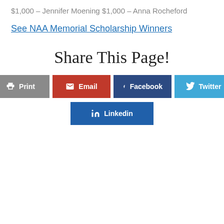$1,000 – Jennifer Moening
$1,000 – Anna Rocheford
See NAA Memorial Scholarship Winners
Share This Page!
Print | Email | Facebook | Twitter | Linkedin